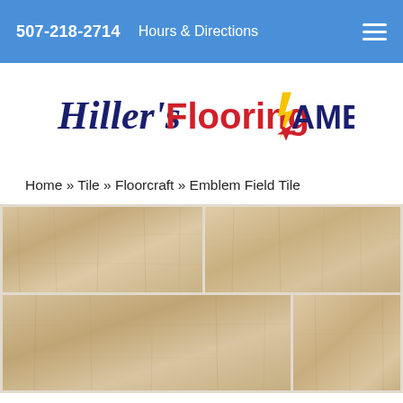507-218-2714   Hours & Directions
[Figure (logo): Hiller's Flooring America logo — script text 'Hiller's' in dark navy, 'Flooring' in red bold, 'AMERICA' in navy bold with a yellow lightning bolt and red/navy star]
Home » Tile » Floorcraft » Emblem Field Tile
[Figure (photo): Wood-look ceramic tile flooring product photo showing large rectangular tiles arranged in a brick pattern — light tan/beige tone with subtle wood grain texture and light grout lines]